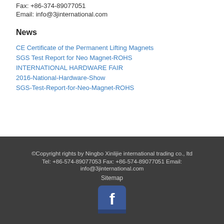Fax: +86-374-89077051
Email: info@3jinternational.com
News
CE Certificate of the Permanent Lifting Magnets
SGS Test Report for Neo Magnet-ROHS
INTERNATIONAL HARDWARE FAIR
2016-National-Hardware-Show
SGS-Test-Report-for-Neo-Magnet-ROHS
©Copyright rights by Ningbo Xinlijie international trading co., ltd
Tel: +86-574-89077053 Fax: +86-574-89077051 Email: info@3jinternational.com
Sitemap